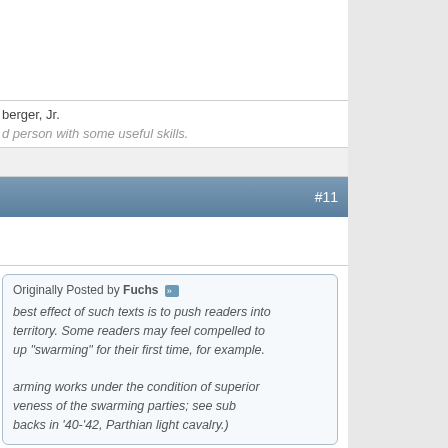berger, Jr.
d person with some useful skills.
#11
Originally Posted by Fuchs
best effect of such texts is to push readers into territory. Some readers may feel compelled to up "swarming" for their first time, for example. arming works under the condition of superior veness of the swarming parties; see sub backs in '40-'42, Parthian light cavalry.)
Swarming." Wolfpacks, moved dispersed then massed d, often directed by aerial reconnaissance. The answer s was convoys - again massing.